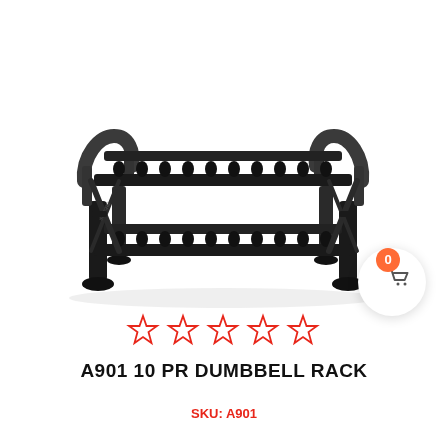[Figure (photo): A two-tier dumbbell rack (A901 10 PR Dumbbell Rack) shown in black metal with rubber cradles for holding dumbbells on two shelves, viewed at a slight angle.]
A901 10 PR DUMBBELL RACK
SKU: A901